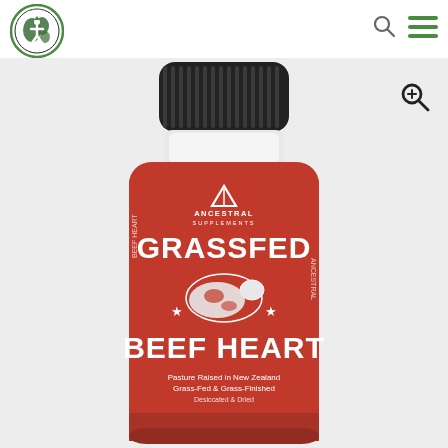[Figure (logo): I Am A Clean Eater circular logo with globe and figure icon in green and black]
[Figure (photo): Ancestral Supplements Grassfed Beef Heart supplement bottle with black lid, red label showing grassfed beef heart product text, pasture raised in New Zealand, grass-fed and grass-finished]
[Figure (other): Search magnifying glass icon in top right header area]
[Figure (other): Hamburger menu icon (three green horizontal lines) in top right header]
[Figure (other): Zoom/search magnifying glass icon overlaid on product image, top right]